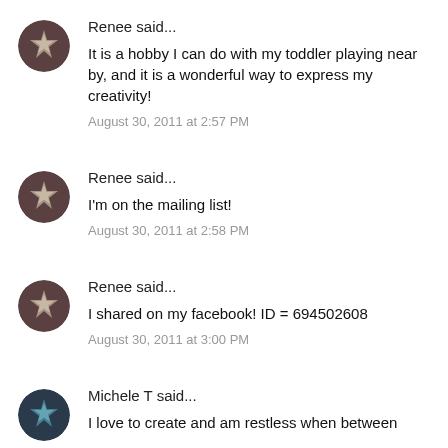[Figure (illustration): Circular avatar with star/badge design on dark brown background]
Renee said...
It is a hobby I can do with my toddler playing near by, and it is a wonderful way to express my creativity!
August 30, 2011 at 2:57 PM
[Figure (illustration): Circular avatar with star/badge design on dark brown background]
Renee said...
I'm on the mailing list!
August 30, 2011 at 2:58 PM
[Figure (illustration): Circular avatar with star/badge design on dark brown background]
Renee said...
I shared on my facebook! ID = 694502608
August 30, 2011 at 3:00 PM
[Figure (illustration): Circular avatar with teal/blue star design on dark background]
Michele T said...
I love to create and am restless when between...